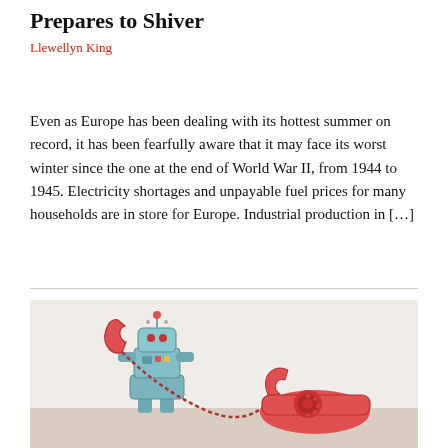Prepares to Shiver
Llewellyn King
Even as Europe has been dealing with its hottest summer on record, it has been fearfully aware that it may face its worst winter since the one at the end of World War II, from 1944 to 1945. Electricity shortages and unpayable fuel prices for many households are in store for Europe. Industrial production in […]
[Figure (photo): A toy robot holding a red telephone handset, next to a red rotary telephone on a table]